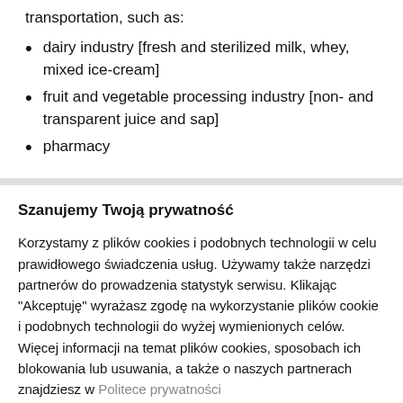transportation, such as:
dairy industry [fresh and sterilized milk, whey, mixed ice-cream]
fruit and vegetable processing industry [non- and transparent juice and sap]
pharmacy
Szanujemy Twoją prywatność
Korzystamy z plików cookies i podobnych technologii w celu prawidłowego świadczenia usług. Używamy także narzędzi partnerów do prowadzenia statystyk serwisu. Klikając "Akceptuję" wyrażasz zgodę na wykorzystanie plików cookie i podobnych technologii do wyżej wymienionych celów. Więcej informacji na temat plików cookies, sposobach ich blokowania lub usuwania, a także o naszych partnerach znajdziesz w Polityce prywatności
Nie, dziękuję
Akceptuję